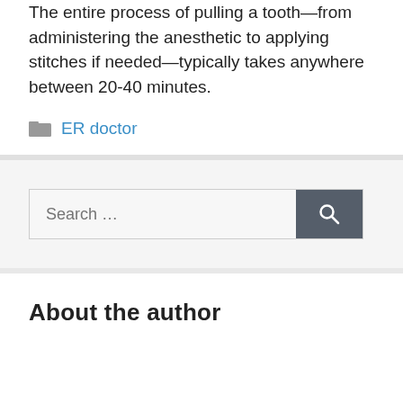The entire process of pulling a tooth—from administering the anesthetic to applying stitches if needed—typically takes anywhere between 20-40 minutes.
ER doctor
About the author